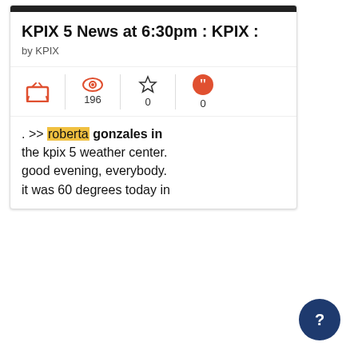KPIX 5 News at 6:30pm : KPIX :
by KPIX
. >> roberta gonzales in the kpix 5 weather center. good evening, everybody. it was 60 degrees today in
[Figure (other): Help/question mark button, dark blue circle with white question mark]